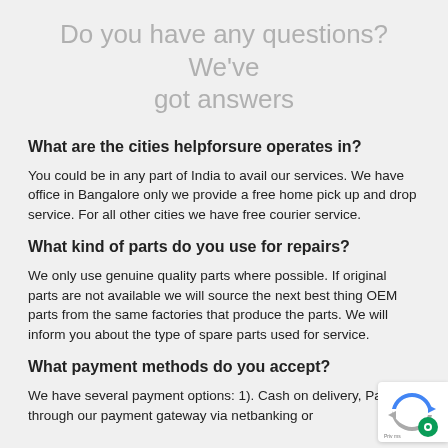Do you have any questions? We've got answers
What are the cities helpforsure operates in?
You could be in any part of India to avail our services. We have office in Bangalore only we provide a free home pick up and drop service. For all other cities we have free courier service.
What kind of parts do you use for repairs?
We only use genuine quality parts where possible. If original parts are not available we will source the next best thing OEM parts from the same factories that produce the parts. We will inform you about the type of spare parts used for service.
What payment methods do you accept?
We have several payment options: 1). Cash on delivery, Payment through our payment gateway via netbanking or